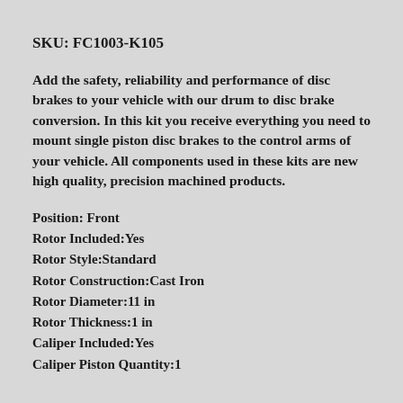SKU: FC1003-K105
Add the safety, reliability and performance of disc brakes to your vehicle with our drum to disc brake conversion. In this kit you receive everything you need to mount single piston disc brakes to the control arms of your vehicle. All components used in these kits are new high quality, precision machined products.
Position: Front
Rotor Included:Yes
Rotor Style:Standard
Rotor Construction:Cast Iron
Rotor Diameter:11 in
Rotor Thickness:1 in
Caliper Included:Yes
Caliper Piston Quantity:1